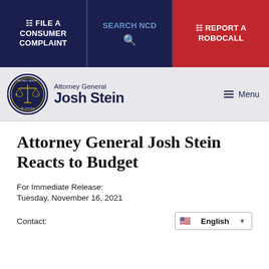FILE A CONSUMER COMPLAINT | SEARCH NCD | REPORT A ROBOCALL
[Figure (logo): Attorney General Josh Stein official seal and name header with navigation menu]
Attorney General Josh Stein Reacts to Budget
For Immediate Release:
Tuesday, November 16, 2021
Contact: